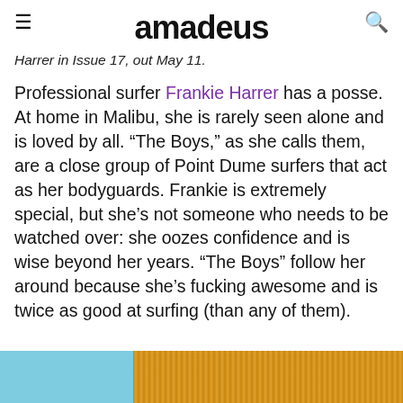amadeus
Harrer in Issue 17, out May 11.
Professional surfer Frankie Harrer has a posse. At home in Malibu, she is rarely seen alone and is loved by all. “The Boys,” as she calls them, are a close group of Point Dume surfers that act as her bodyguards. Frankie is extremely special, but she’s not someone who needs to be watched over: she oozes confidence and is wise beyond her years. “The Boys” follow her around because she’s fucking awesome and is twice as good at surfing (than any of them).
[Figure (photo): Bottom strip showing a light blue section on the left and a corrugated golden/orange textured surface on the right]